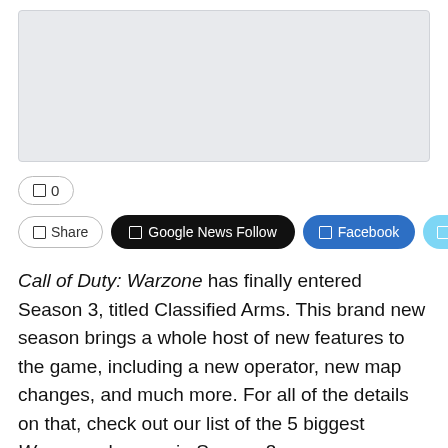[Figure (other): Gray advertisement placeholder box]
□ 0
□ Share  □ Google News Follow  □ Facebook  □ Twitter
Call of Duty: Warzone has finally entered Season 3, titled Classified Arms. This brand new season brings a whole host of new features to the game, including a new operator, new map changes, and much more. For all of the details on that, check out our list of the 5 biggest Warzone changes in Season 3.
One of many weapons that saw heavy adjustments